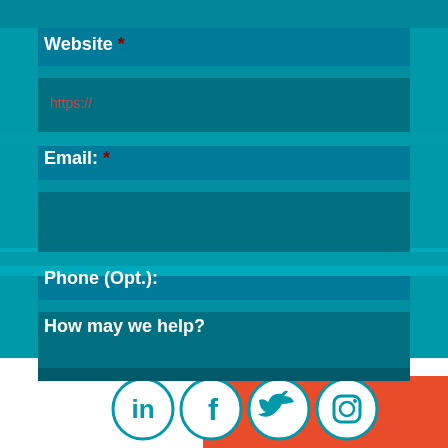Website *
https://
Email: *
Phone (Opt.):
How may we help?
[Figure (illustration): Social media icons: LinkedIn, Facebook, Twitter, Instagram circles in teal outline on white background, overlapping an orange-red rectangle]